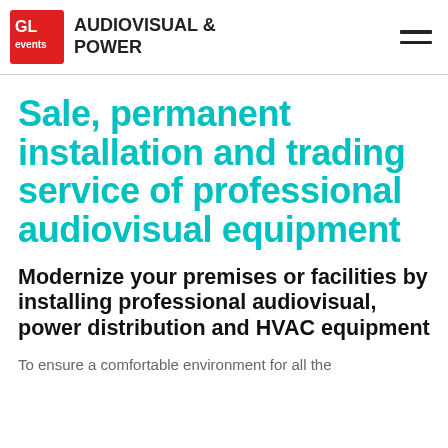GL events AUDIOVISUAL & POWER
Sale, permanent installation and trading service of professional audiovisual equipment
Modernize your premises or facilities by installing professional audiovisual, power distribution and HVAC equipment
To ensure a comfortable environment for all the